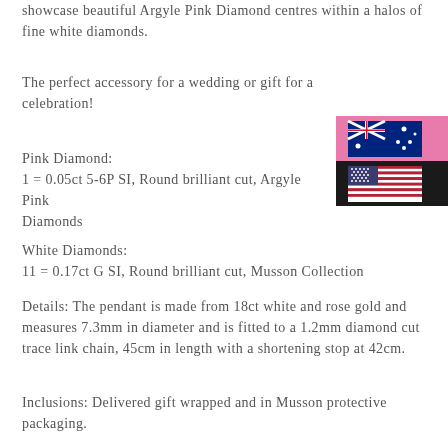showcase beautiful Argyle Pink Diamond centres within a halos of fine white diamonds.
The perfect accessory for a wedding or gift for a celebration!
Pink Diamond:
1 = 0.05ct 5-6P SI, Round brilliant cut, Argyle Pink Diamonds
White Diamonds:
11 = 0.17ct G SI, Round brilliant cut, Musson Collection
Details: The pendant is made from 18ct white and rose gold and measures 7.3mm in diameter and is fitted to a 1.2mm diamond cut trace link chain, 45cm in length with a shortening stop at 42cm.
Inclusions: Delivered gift wrapped and in Musson protective packaging.
[Figure (illustration): Two flag icons stacked vertically — Australian flag on pink background (top) and US flag on black background (bottom), partially visible at right edge of page]